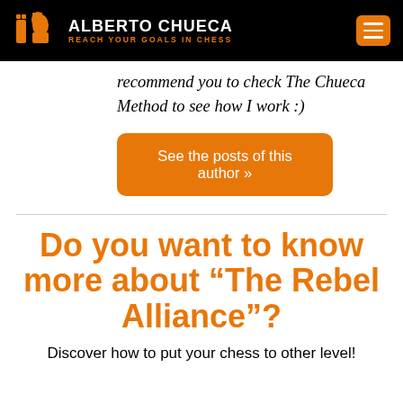ALBERTO CHUECA — REACH YOUR GOALS IN CHESS
recommend you to check The Chueca Method to see how I work :)
See the posts of this author »
Do you want to know more about “The Rebel Alliance”?
Discover how to put your chess to other level!